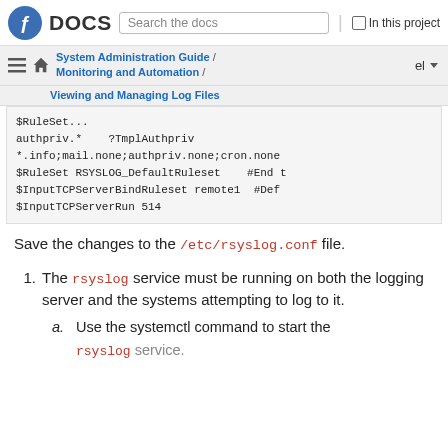Fedora DOCS | Search the docs | In this project
System Administration Guide / Monitoring and Automation / Viewing and Managing Log Files | el
$RuleSet...
authpriv.*    ?TmplAuthpriv
*.info;mail.none;authpriv.none;cron.none
$RuleSet RSYSLOG_DefaultRuleset    #End t
$InputTCPServerBindRuleset remote1   #Def
$InputTCPServerRun 514
Save the changes to the /etc/rsyslog.conf file.
1. The rsyslog service must be running on both the logging server and the systems attempting to log to it.
a. Use the systemctl command to start the rsyslog service.